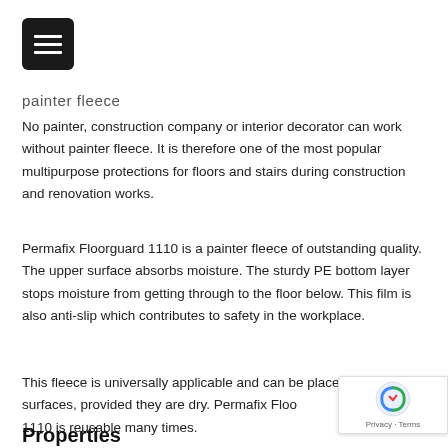[Figure (other): Hamburger menu button, dark rounded square with three white horizontal lines]
painter fleece
No painter, construction company or interior decorator can work without painter fleece. It is therefore one of the most popular multipurpose protections for floors and stairs during construction and renovation works.
Permafix Floorguard 1110 is a painter fleece of outstanding quality. The upper surface absorbs moisture. The sturdy PE bottom layer stops moisture from getting through to the floor below. This film is also anti-slip which contributes to safety in the workplace.
This fleece is universally applicable and can be placed on different surfaces, provided they are dry. Permafix Floorguard 1110 is reusable many times.
Properties